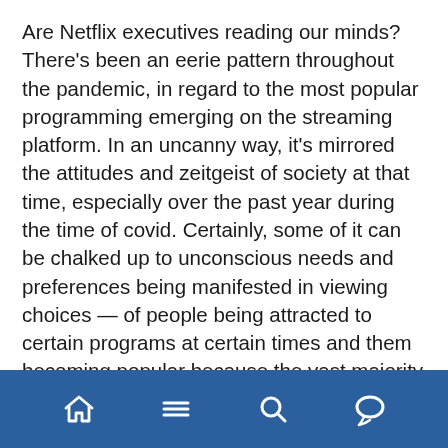Are Netflix executives reading our minds? There's been an eerie pattern throughout the pandemic, in regard to the most popular programming emerging on the streaming platform. In an uncanny way, it's mirrored the attitudes and zeitgeist of society at that time, especially over the past year during the time of covid. Certainly, some of it can be chalked up to unconscious needs and preferences being manifested in viewing choices — of people being attracted to certain programs at certain times and them becoming popular because the vast majority of us are feeling a certain thing at… [Read More]
Tagged: CAROLE BASKIN  COBRA KAI  CORONAVIRUS  COVID-19  DENNIS RODMAN  FACEBOOK  JOE EXOTIC  MICHAEL JORDAN  NETFLIX  RALPH MACCHIO  SCOTTIE PIPPEN  SEAN LEARY  SEAN LEARY COLUMN  SEAN LEARY COLUMNS  SEAN LEARY WRITER  SOCIAL DILEMMA  THE LAST DANCE  TIGER KING
[Figure (other): Bottom navigation bar with home, menu, search, and comment icons on a blue background]